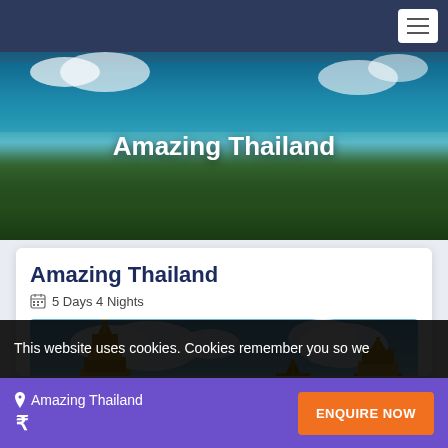Navigation bar with hamburger menu
[Figure (photo): Aerial photo of tropical coastline with palm trees and turquoise water, showing 'Amazing Thailand' text overlay]
Amazing Thailand
5 Days 4 Nights
[Figure (photo): Photo of Thai temple pagodas with golden spires against a blue sky with clouds]
This website uses cookies. Cookies remember you so we
Amazing Thailand ₹ — ENQUIRE NOW